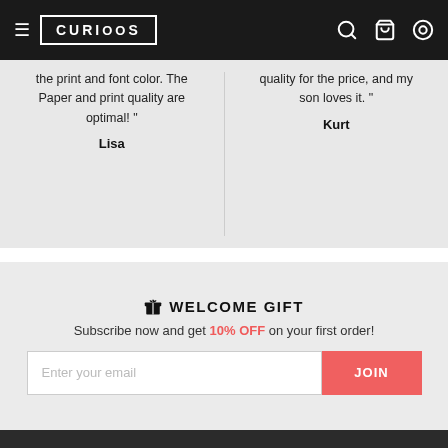CURIOSOS navigation header with hamburger menu, logo, search, cart, and account icons
the print and font color. The
Paper and print quality are
optimal! "
Lisa
quality for the price, and my
son loves it. "
Kurt
🎁 WELCOME GIFT
Subscribe now and get 10% OFF on your first order!
Enter your email  JOIN
[Figure (logo): Curiosos logo in white on dark grey footer background, text inside a rectangular border]